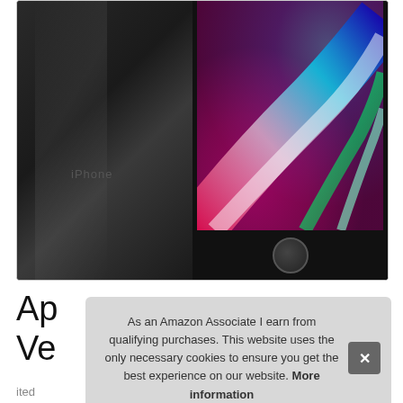[Figure (photo): Two iPhones shown: one facing back (space grey) with 'iPhone' text visible, and one facing front displaying a colorful abstract wallpaper with vibrant red, blue, and teal colors. The front-facing phone shows the home button at the bottom.]
Ap
Ve
As an Amazon Associate I earn from qualifying purchases. This website uses the only necessary cookies to ensure you get the best experience on our website. More information
ited